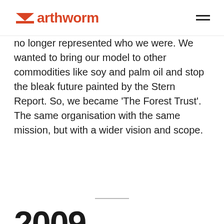Earthworm
no longer represented who we were. We wanted to bring our model to other commodities like soy and palm oil and stop the bleak future painted by the Stern Report. So, we became ‘The Forest Trust’. The same organisation with the same mission, but with a wider vision and scope.
2009
[Figure (illustration): Partial circle/semicircle shape in light grey, cropped at the bottom of the page]